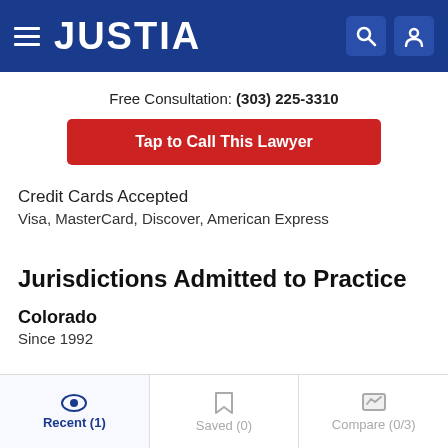JUSTIA
Free Consultation: (303) 225-3310
Tap to Call This Lawyer
Credit Cards Accepted
Visa, MasterCard, Discover, American Express
Jurisdictions Admitted to Practice
Colorado
Since 1992
Recent (1)    Saved (0)    Compare (0/3)